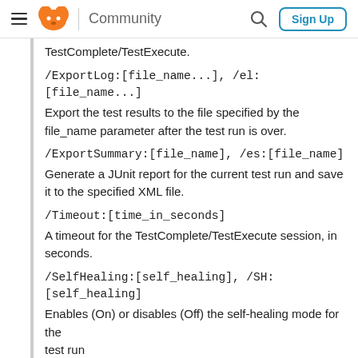Community  Sign Up
TestComplete/TestExecute.
/ExportLog:[file_name...], /el:[file_name...]
Export the test results to the file specified by the file_name parameter after the test run is over.
/ExportSummary:[file_name], /es:[file_name]
Generate a JUnit report for the current test run and save it to the specified XML file.
/Timeout:[time_in_seconds]
A timeout for the TestComplete/TestExecute session, in seconds.
/SelfHealing:[self_healing], /SH:[self_healing]
Enables (On) or disables (Off) the self-healing mode for the test run